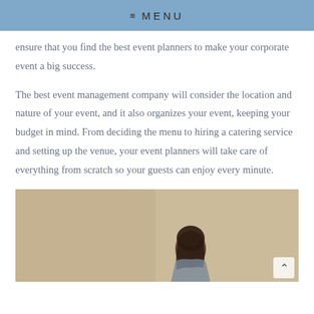≡ MENU
ensure that you find the best event planners to make your corporate event a big success.
The best event management company will consider the location and nature of your event, and it also organizes your event, keeping your budget in mind. From deciding the menu to hiring a catering service and setting up the venue, your event planners will take care of everything from scratch so your guests can enjoy every minute.
[Figure (photo): A woman with dark hair against a warm beige/tan background, partial view showing head and upper body area at bottom center of image, with a scroll-to-top arrow button in the bottom right corner.]